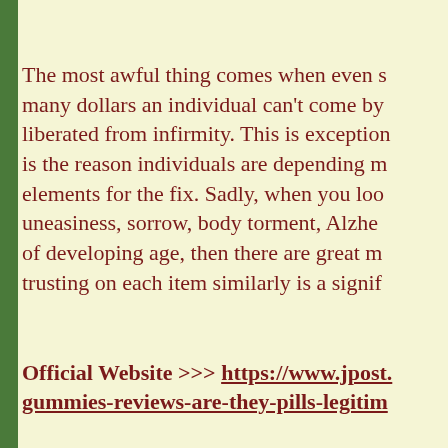The most awful thing comes when even s many dollars an individual can't come by liberated from infirmity. This is exception is the reason individuals are depending m elements for the fix. Sadly, when you loo uneasiness, sorrow, body torment, Alzhe of developing age, then there are great m trusting on each item similarly is a signif
Official Website >>> https://www.jpost.com/... gummies-reviews-are-they-pills-legitim...